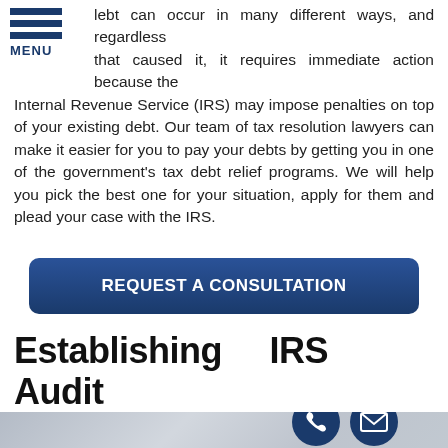MENU
lebt can occur in many different ways, and regardless that caused it, it requires immediate action because the Internal Revenue Service (IRS) may impose penalties on top of your existing debt. Our team of tax resolution lawyers can make it easier for you to pay your debts by getting you in one of the government's tax debt relief programs. We will help you pick the best one for your situation, apply for them and plead your case with the IRS.
REQUEST A CONSULTATION
Establishing IRS Audit Defense
[Figure (photo): Background image of tax or legal documents, blurred/light, with phone and email contact icons overlaid in bottom right corner]